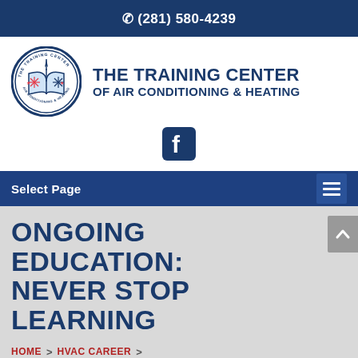(281) 580-4239
[Figure (logo): The Training Center of Air Conditioning & Heating circular logo with book and snowflake emblem, alongside organization name text]
[Figure (logo): Facebook social media icon (square with f)]
Select Page
ONGOING EDUCATION: NEVER STOP LEARNING
HOME > HVAC CAREER >
ONGOING EDUCATION: NEVER STOP LEARNING